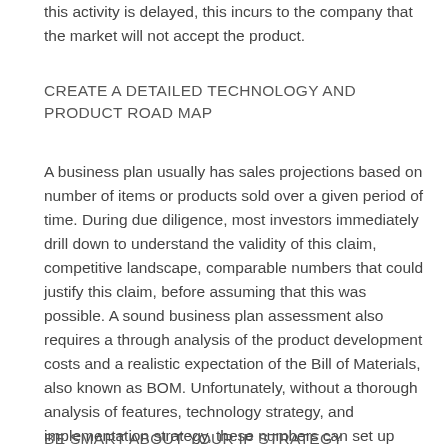this activity is delayed, this incurs to the company that the market will not accept the product.
CREATE A DETAILED TECHNOLOGY AND PRODUCT ROAD MAP
A business plan usually has sales projections based on number of items or products sold over a given period of time. During due diligence, most investors immediately drill down to understand the validity of this claim, competitive landscape, comparable numbers that could justify this claim, before assuming that this was possible. A sound business plan assessment also requires a through analysis of the product development costs and a realistic expectation of the Bill of Materials, also known as BOM. Unfortunately, without a thorough analysis of features, technology strategy, and implementation strategy, these numbers can set up unrealistic expectations of what is possible in a given timeframe.
BE SMART ABOUT YOUR IP STRATEGY